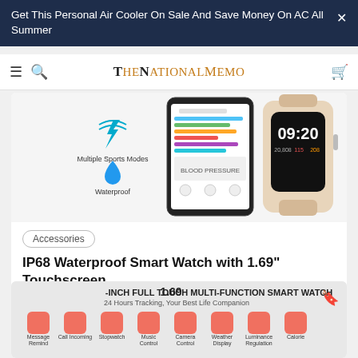Get This Personal Air Cooler On Sale And Save Money On AC All Summer
TheNationalMemo
[Figure (photo): Smart watch product image showing Multiple Sports Modes icon, Waterproof icon, and the watch face displaying 09:20 with health stats alongside a phone app screen.]
Accessories
IP68 Waterproof Smart Watch with 1.69" Touchscreen
$49.99
[Figure (infographic): 1.69-INCH FULL TOUCH MULTI-FUNCTION SMART WATCH. 24 Hours Tracking, Your Best Life Companion. Features icons: Message Remind, Call Incoming, Stopwatch, Music Control, Camera Control, Weather Display, Luminance Regulation, Calorie, Heart Rate Monitor, Sleep Monitor, Steps, Distance, 24 Sports Modes, Find Phone & Watch, Sedentary Notification, Alarms.]